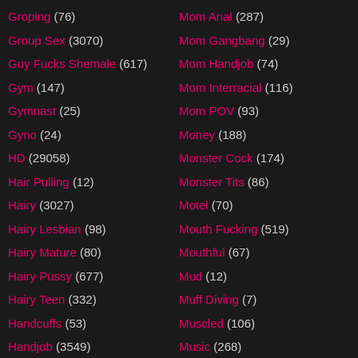Groping (76)
Group Sex (3070)
Guy Fucks Shemale (617)
Gym (147)
Gymnast (25)
Gyno (24)
HD (29058)
Hair Pulling (12)
Hairy (3027)
Hairy Lesbian (98)
Hairy Mature (80)
Hairy Pussy (677)
Hairy Teen (332)
Handcuffs (53)
Handjob (3549)
Mom Anal (287)
Mom Gangbang (29)
Mom Handjob (74)
Mom Interracial (116)
Mom POV (93)
Money (188)
Monster Cock (174)
Monster Tits (86)
Motel (70)
Mouth Fucking (519)
Mouthful (67)
Mud (12)
Muff Diving (7)
Muscled (106)
Music (268)